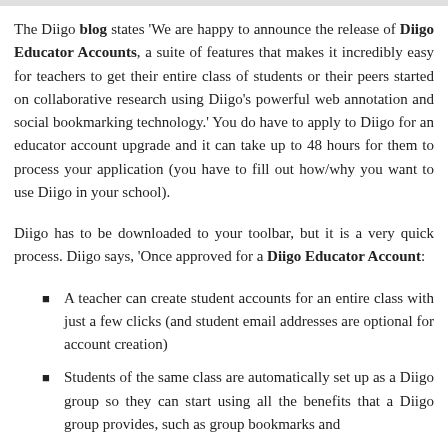The Diigo blog states 'We are happy to announce the release of Diigo Educator Accounts, a suite of features that makes it incredibly easy for teachers to get their entire class of students or their peers started on collaborative research using Diigo's powerful web annotation and social bookmarking technology.' You do have to apply to Diigo for an educator account upgrade and it can take up to 48 hours for them to process your application (you have to fill out how/why you want to use Diigo in your school).
Diigo has to be downloaded to your toolbar, but it is a very quick process. Diigo says, 'Once approved for a Diigo Educator Account:
A teacher can create student accounts for an entire class with just a few clicks (and student email addresses are optional for account creation)
Students of the same class are automatically set up as a Diigo group so they can start using all the benefits that a Diigo group provides, such as group bookmarks and